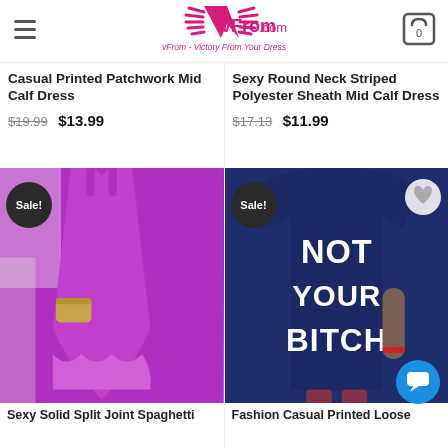vFrom.com — vFrom - Victory From Your Dress
Casual Printed Patchwork Mid Calf Dress $19.99 $13.99
Sexy Round Neck Striped Polyester Sheath Mid Calf Dress $17.13 $11.99
[Figure (photo): Woman wearing a magenta/purple loose spaghetti strap maxi dress with a ruffled hem, carrying a gold clutch. Sale badge in upper left.]
Sexy Solid Split Joint Spaghetti
[Figure (photo): Woman wearing a navy blue oversized t-shirt dress with 'NOT YOUR BITCH' text on the back. Sale badge in upper left, heart icon upper right.]
Fashion Casual Printed Loose